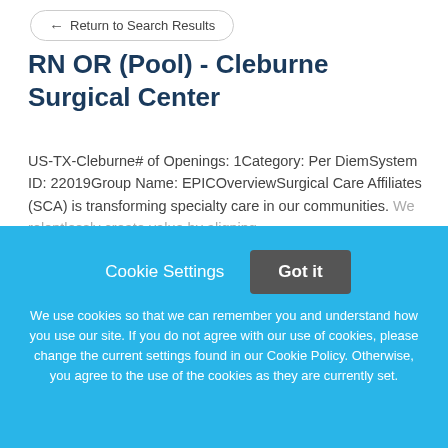Return to Search Results
RN OR (Pool) - Cleburne Surgical Center
US-TX-Cleburne# of Openings: 1Category: Per DiemSystem ID: 22019Group Name: EPICOverviewSurgical Care Affiliates (SCA) is transforming specialty care in our communities. We relentlessly create value by aligning
This job listing is no longer active.
Cookie Settings  Got it
We use cookies so that we can remember you and understand how you use our site. If you do not agree with our use of cookies, please change the current settings found in our Cookie Policy. Otherwise, you agree to the use of the cookies as they are currently set.